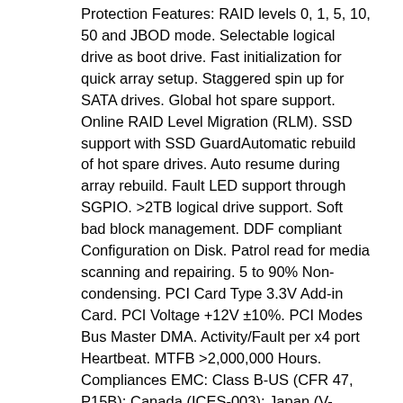Protection Features: RAID levels 0, 1, 5, 10, 50 and JBOD mode. Selectable logical drive as boot drive. Fast initialization for quick array setup. Staggered spin up for SATA drives. Global hot spare support. Online RAID Level Migration (RLM). SSD support with SSD GuardAutomatic rebuild of hot spare drives. Auto resume during array rebuild. Fault LED support through SGPIO. >2TB logical drive support. Soft bad block management. DDF compliant Configuration on Disk. Patrol read for media scanning and repairing. 5 to 90% Non-condensing. PCI Card Type 3.3V Add-in Card. PCI Voltage +12V ±10%. PCI Modes Bus Master DMA. Activity/Fault per x4 port Heartbeat. MTFB >2,000,000 Hours. Compliances EMC: Class B-US (CFR 47, P15B); Canada (ICES-003); Japan (V-3/02.04); Europe (EN55022/EN55024); Australia/New Zealand (AS/NZS 3548); Safety: EN60950. OS Support Microsoft® Windows®, Linux® (SuSE®, Red Hat®), Solaris®, Vmware®. Brackets Full Height and Low-Profile. 1x 9240-8i Raid card. 1x Original packing box. Sorry for the inconvenience. We will packed each item carefull by